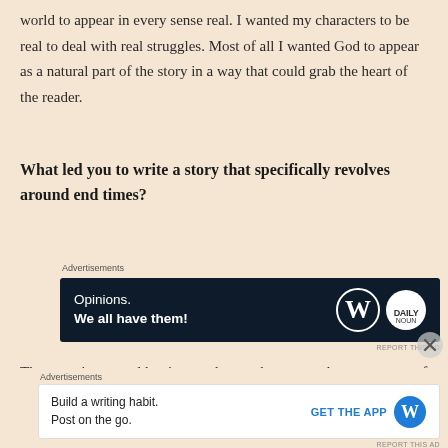world to appear in every sense real. I wanted my characters to be real to deal with real struggles. Most of all I wanted God to appear as a natural part of the story in a way that could grab the heart of the reader.
What led you to write a story that specifically revolves around end times?
Advertisements
[Figure (screenshot): Dark advertisement banner reading 'Opinions. We all have them!' with WordPress logo and a circular brand logo on dark navy background.]
REPORT THIS AD
That wasn't my goal but it turned out to be a natural consequence of my goal. I wanted to write something
Advertisements
[Figure (screenshot): Light advertisement banner reading 'Build a writing habit. Post on the go.' with GET THE APP button and WordPress logo.]
REPORT THIS AD